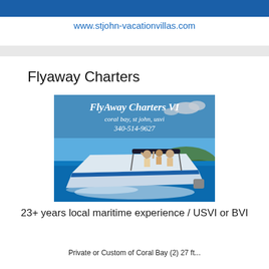www.stjohn-vacationvillas.com
Flyaway Charters
[Figure (photo): FlyAway Charters VI boat on turquoise water with people aboard. Text overlay: 'FlyAway Charters VI, coral bay, st john, usvi, 340-514-9627']
23+ years local maritime experience / USVI or BVI
Private or Custom of Coral Bay (2) 27 ft...